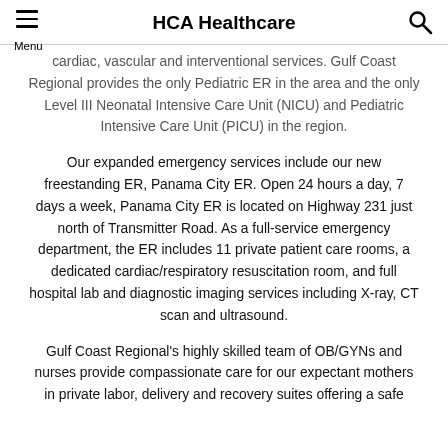HCA Healthcare
cardiac, vascular and interventional services. Gulf Coast Regional provides the only Pediatric ER in the area and the only Level III Neonatal Intensive Care Unit (NICU) and Pediatric Intensive Care Unit (PICU) in the region.
Our expanded emergency services include our new freestanding ER, Panama City ER. Open 24 hours a day, 7 days a week, Panama City ER is located on Highway 231 just north of Transmitter Road. As a full-service emergency department, the ER includes 11 private patient care rooms, a dedicated cardiac/respiratory resuscitation room, and full hospital lab and diagnostic imaging services including X-ray, CT scan and ultrasound.
Gulf Coast Regional's highly skilled team of OB/GYNs and nurses provide compassionate care for our expectant mothers in private labor, delivery and recovery suites offering a safe...